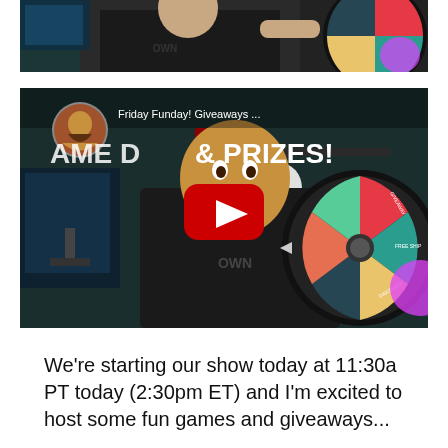[Figure (screenshot): Top portion of a video thumbnail showing a man in a black shirt pointing at a prize/spinning wheel, with colorful wheel segments visible on the right side]
[Figure (screenshot): YouTube video thumbnail showing a man in a black shirt pointing at a colorful spinning prize wheel. Text overlay reads 'Friday Funday! Giveaways...' and 'AME D... & PRIZES!' with a YouTube play button in the center. A bearded man avatar is visible in the top-left corner.]
We're starting our show today at 11:30a PT today (2:30pm ET) and I'm excited to host some fun games and giveaways...